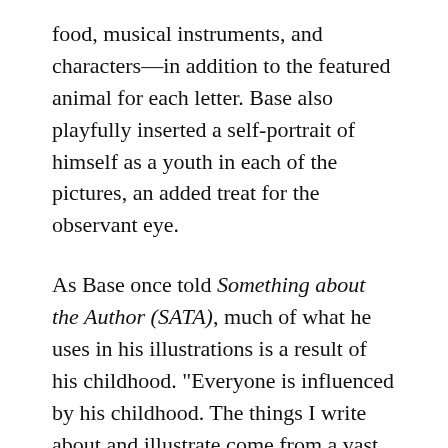food, musical instruments, and characters—in addition to the featured animal for each letter. Base also playfully inserted a self-portrait of himself as a youth in each of the pictures, an added treat for the observant eye.
As Base once told Something about the Author (SATA), much of what he uses in his illustrations is a result of his childhood. "Everyone is influenced by his childhood. The things I write about and illustrate come from a vast range of inputs, from the earliest impressions of a little child, others from things I saw yesterday, and still others